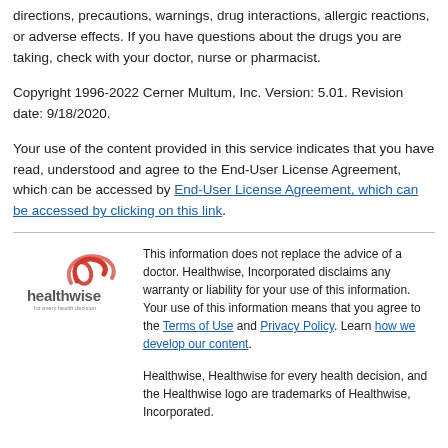directions, precautions, warnings, drug interactions, allergic reactions, or adverse effects. If you have questions about the drugs you are taking, check with your doctor, nurse or pharmacist.
Copyright 1996-2022 Cerner Multum, Inc. Version: 5.01. Revision date: 9/18/2020.
Your use of the content provided in this service indicates that you have read, understood and agree to the End-User License Agreement, which can be accessed by End-User License Agreement, which can be accessed by clicking on this link.
[Figure (logo): Healthwise logo — red arc/swoosh above the word 'healthwise' in gray with tagline 'for every health decision']
This information does not replace the advice of a doctor. Healthwise, Incorporated disclaims any warranty or liability for your use of this information. Your use of this information means that you agree to the Terms of Use and Privacy Policy. Learn how we develop our content.
Healthwise, Healthwise for every health decision, and the Healthwise logo are trademarks of Healthwise, Incorporated.